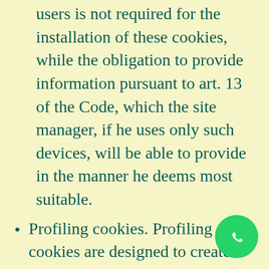users is not required for the installation of these cookies, while the obligation to provide information pursuant to art. 13 of the Code, which the site manager, if he uses only such devices, will be able to provide in the manner he deems most suitable.
Profiling cookies. Profiling cookies are designed to create user profiles and are used in order to send advertising messages in line with the preferences expressed by the user while surfing the net. Due to the particular invasiveness that such devices may have in the private sphere of users, European and Italian legislation provides that the user must